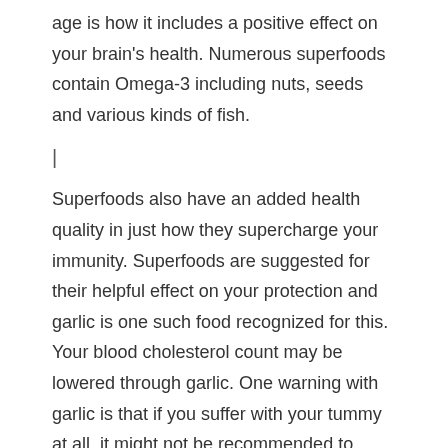age is how it includes a positive effect on your brain's health. Numerous superfoods contain Omega-3 including nuts, seeds and various kinds of fish.
|
Superfoods also have an added health quality in just how they supercharge your immunity. Superfoods are suggested for their helpful effect on your protection and garlic is one such food recognized for this. Your blood cholesterol count may be lowered through garlic. One warning with garlic is that if you suffer with your tummy at all, it might not be recommended to consume it. Green tea is definitely an option for you personally, especially if the concept of drinking a lot of water, which as previously stated is a vital factor in your overall health, is something you can not do. If you consider the level of antioxidants it has and the very fact it also has polyphenols, then green tea really is worth drinking. One additional area where green tea seems to possess a benefit is in